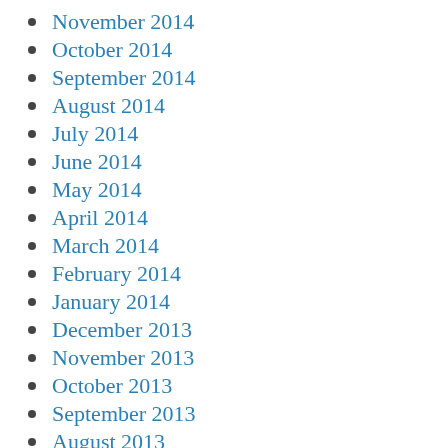November 2014
October 2014
September 2014
August 2014
July 2014
June 2014
May 2014
April 2014
March 2014
February 2014
January 2014
December 2013
November 2013
October 2013
September 2013
August 2013